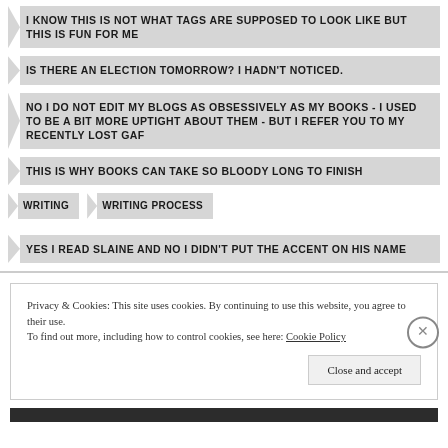I KNOW THIS IS NOT WHAT TAGS ARE SUPPOSED TO LOOK LIKE BUT THIS IS FUN FOR ME
IS THERE AN ELECTION TOMORROW? I HADN'T NOTICED.
NO I DO NOT EDIT MY BLOGS AS OBSESSIVELY AS MY BOOKS - I USED TO BE A BIT MORE UPTIGHT ABOUT THEM - BUT I REFER YOU TO MY RECENTLY LOST GAF
THIS IS WHY BOOKS CAN TAKE SO BLOODY LONG TO FINISH
WRITING
WRITING PROCESS
YES I READ SLAINE AND NO I DIDN'T PUT THE ACCENT ON HIS NAME
Privacy & Cookies: This site uses cookies. By continuing to use this website, you agree to their use.
To find out more, including how to control cookies, see here: Cookie Policy
Close and accept